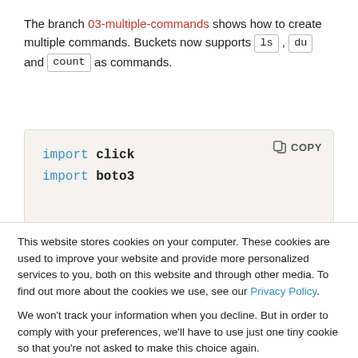The branch 03-multiple-commands shows how to create multiple commands. Buckets now supports ls , du and count as commands.
[Figure (screenshot): Code block showing 'import click' and 'import boto3' with a COPY button, on a light beige background]
This website stores cookies on your computer. These cookies are used to improve your website and provide more personalized services to you, both on this website and through other media. To find out more about the cookies we use, see our Privacy Policy.

We won't track your information when you decline. But in order to comply with your preferences, we'll have to use just one tiny cookie so that you're not asked to make this choice again.
Accept | Decline